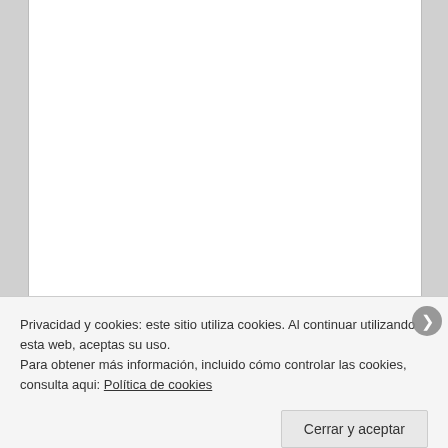Privacidad y cookies: este sitio utiliza cookies. Al continuar utilizando esta web, aceptas su uso.
Para obtener más información, incluido cómo controlar las cookies, consulta aqui: Política de cookies
Cerrar y aceptar
INFORMA SOBRE LAS COOKIES